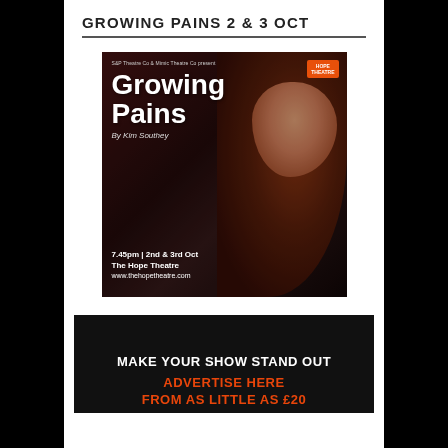GROWING PAINS 2 & 3 OCT
[Figure (photo): Theatre poster for 'Growing Pains' by Kim Southey. Features a young girl with long red hair resting her chin on her hand, wearing a colorful striped sweater. Text includes: S&P Theatre Co & Mimic Theatre Co present, Growing Pains, By Kim Southey, 7.45pm | 2nd & 3rd Oct, The Hope Theatre, www.thehopetheatre.com. Hope Theatre logo badge in top-right corner.]
[Figure (infographic): Dark advertisement box with text: MAKE YOUR SHOW STAND OUT, ADVERTISE HERE, FROM AS LITTLE AS £20]